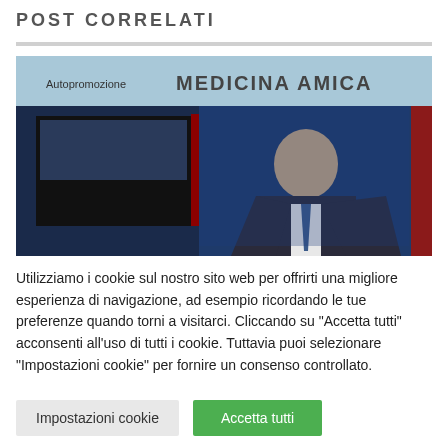POST CORRELATI
[Figure (screenshot): TV screenshot showing a man in a suit in a studio setting. Text overlay reads 'Autopromozione' and 'MEDICINA AMICA' on a blue background.]
Utilizziamo i cookie sul nostro sito web per offrirti una migliore esperienza di navigazione, ad esempio ricordando le tue preferenze quando torni a visitarci. Cliccando su "Accetta tutti" acconsenti all'uso di tutti i cookie. Tuttavia puoi selezionare "Impostazioni cookie" per fornire un consenso controllato.
Impostazioni cookie   Accetta tutti